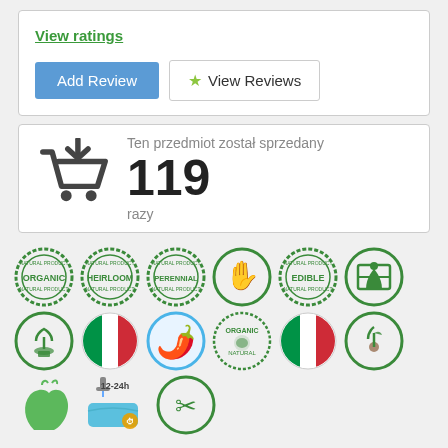View ratings
Add Review
View Reviews
Ten przedmiot został sprzedany 119 razy
[Figure (infographic): Shopping cart icon with download arrow, sold count 119 razy]
[Figure (infographic): Row of green badge icons: Organic, Heirloom, Perennial, hand print, Edible, seedling in box]
[Figure (infographic): Row of circular icons: plant in pot, Italian flag, chili pepper character, Organic Natural, Italian flag, seedling]
[Figure (infographic): Row of icons: green peppers, 12-24h soaking tub, scissor hand icon]